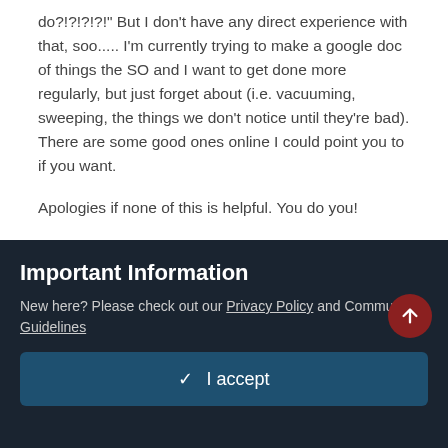do?!?!?!?!" But I don't have any direct experience with that, soo..... I'm currently trying to make a google doc of things the SO and I want to get done more regularly, but just forget about (i.e. vacuuming, sweeping, the things we don't notice until they're bad). There are some good ones online I could point you to if you want.
Apologies if none of this is helpful. You do you!
Quote
Hermione Gainser
Posted January 7, 2016
Important Information
New here? Please check out our Privacy Policy and Community Guidelines
✓  I accept